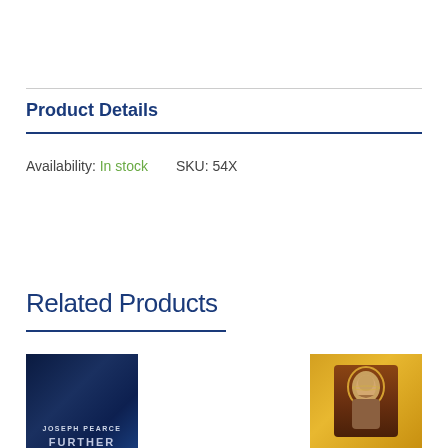Product Details
Availability: In stock     SKU: 54X
Related Products
[Figure (photo): Book cover of 'Further' by Joseph Pearce, dark blue background with stylized imagery]
[Figure (photo): Book cover with golden/warm background featuring a religious figure or saint illustration]